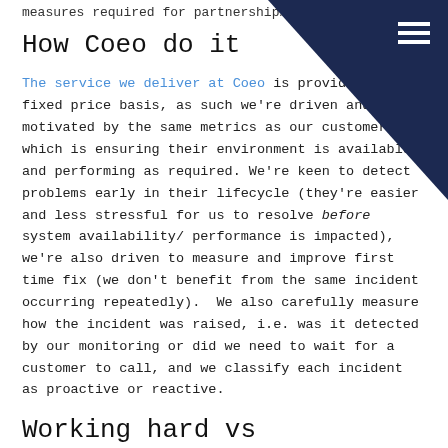measures required for partnership…
How Coeo do it
The service we deliver at Coeo is provided on a fixed price basis, as such we're driven and motivated by the same metrics as our customers, which is ensuring their environment is available and performing as required. We're keen to detect problems early in their lifecycle (they're easier and less stressful for us to resolve before system availability/ performance is impacted), we're also driven to measure and improve first time fix (we don't benefit from the same incident occurring repeatedly). We also carefully measure how the incident was raised, i.e. was it detected by our monitoring or did we need to wait for a customer to call, and we classify each incident as proactive or reactive.
Working hard vs delivering value